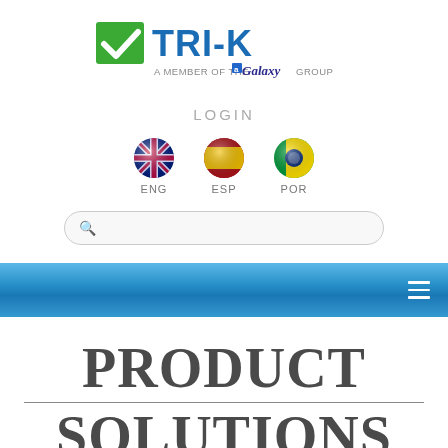[Figure (logo): TRI-K logo with green checkmark icon and blue text TRI-K, below it says A MEMBER OF THE Galaxy GROUP]
LOGIN
[Figure (illustration): Three circular flag icons for ENG (USA flag), ESP (Spain flag), POR (Brazil flag) language selectors]
[Figure (screenshot): Search bar with magnifying glass icon, rounded rectangle style]
[Figure (screenshot): Blue navigation bar with hamburger menu icon on the right]
PRODUCT SOLUTIONS